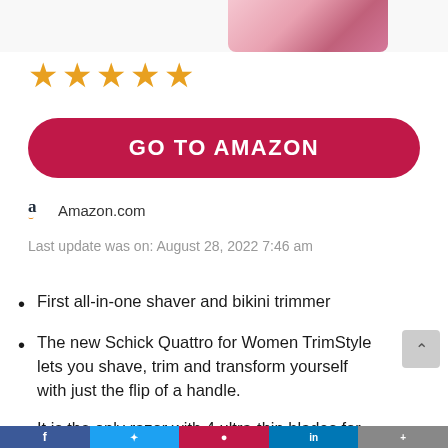[Figure (photo): Partial product image of Schick Quattro for Women TrimStyle razor box (pink/red) cropped at top of page]
[Figure (infographic): Five gold star rating icons]
GO TO AMAZON
Amazon.com
Last update was on: August 28, 2022 7:46 am
First all-in-one shaver and bikini trimmer
The new Schick Quattro for Women TrimStyle lets you shave, trim and transform yourself with just the flip of a handle.
It is the only razor with 4 ultra-thin blades for long- lasting smooth skin and a built-in